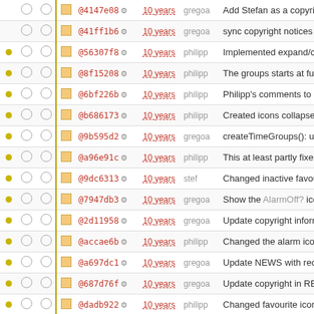|  |  |  |  | Hash | Age | Author | Message |
| --- | --- | --- | --- | --- | --- | --- | --- |
| • | ○ | ○ | □ | @4147e08 ⚙ | 10 years | gregoa | Add Stefan as a copyrig |
|  | ○ | ○ | □ | @41ff1b6 ⚙ | 10 years | gregoa | sync copyright notices b |
| • | ○ | ○ | □ | @56307f8 ⚙ | 10 years | philipp | Implemented expand/co |
| • | ○ | ○ | □ | @8f15208 ⚙ | 10 years | philipp | The groups starts at full |
| • | ○ | ○ | □ | @6bf226b ⚙ | 10 years | philipp | Philipp's comments to r |
| • | ○ | ○ | □ | @b686173 ⚙ | 10 years | philipp | Created icons collapse |
| • | ○ | ○ | □ | @9b595d2 ⚙ | 10 years | gregoa | createTimeGroups(): us |
| • | ○ | ○ | □ | @a96e91c ⚙ | 10 years | philipp | This at least partly fixes |
| • | ○ | ○ | □ | @9dc6313 ⚙ | 10 years | stef | Changed inactive favou |
| • | ○ | ○ | □ | @7947db3 ⚙ | 10 years | gregoa | Show the AlarmOff? ico |
| • | ○ | ○ | □ | @2d11958 ⚙ | 10 years | gregoa | Update copyright inform |
| • | ○ | ○ | □ | @accae6b ⚙ | 10 years | philipp | Changed the alarm icon |
| • | ○ | ○ | □ | @a697dc1 ⚙ | 10 years | gregoa | Update NEWS with rec |
| • | ○ | ○ | □ | @687d76f ⚙ | 10 years | gregoa | Update copyright in RE |
| • | ○ | ○ | □ | @dadb922 ⚙ | 10 years | philipp | Changed favourite icon |
| • | ○ | ○ | □ | @1ba9324 ⚙ | 10 years | gregoa | Handle redirects when i |
| • | ○ | ○ | □ | @d466553 ⚙ | 10 years | gregoa | More output on errors. |
| • | ○ | ○ | □ | @97f91bc ⚙ | 10 years | gregoa | Fix bug in doop... |